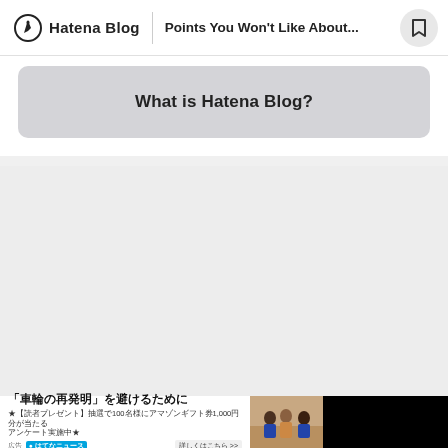Hatena Blog | Points You Won't Like About...
What is Hatena Blog?
[Figure (screenshot): Gray empty content area below the card section]
[Figure (screenshot): Bottom advertisement banner with Japanese text '「車輪の再発明」を避けるために' and a photo of three people]